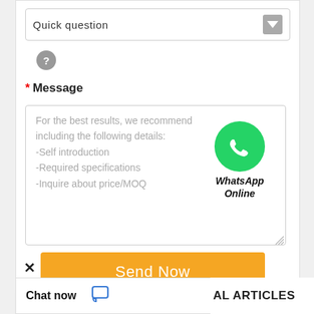Quick question
[Figure (screenshot): Question mark circle icon (gray)]
* Message
For the best results, we recommend including the following details:
-Self introduction
-Required specifications
-Inquire about price/MOQ
[Figure (logo): WhatsApp Online green circle logo with phone icon and label 'WhatsApp Online']
Send Now
Chat now
AL ARTICLES